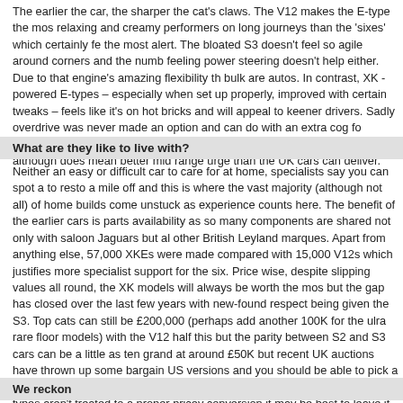The earlier the car, the sharper the cat's claws. The V12 makes the E-type the most relaxing and creamy performers on long journeys than the 'sixes' which certainly feel the most alert. The bloated S3 doesn't feel so agile around corners and the numb feeling power steering doesn't help either. Due to that engine's amazing flexibility the bulk are autos. In contrast, XK -powered E-types – especially when set up properly, improved with certain tweaks – feels like it's on hot bricks and will appeal to keener drivers. Sadly overdrive was never made an option and can do with an extra cog for touring, especially the fussy, lower geared and detuned US spec versions although does mean better mid range urge than the UK cars can deliver.
What are they like to live with?
Neither an easy or difficult car to care for at home, specialists say you can spot a to resto a mile off and this is where the vast majority (although not all) of home builds come unstuck as experience counts here. The benefit of the earlier cars is parts availability as so many components are shared not only with saloon Jaguars but also other British Leyland marques. Apart from anything else, 57,000 XKEs were made compared with 15,000 V12s which justifies more specialist support for the six. Price wise, despite slipping values all round, the XK models will always be worth the most but the gap has closed over the last few years with new-found respect being given the S3. Top cats can still be £200,000 (perhaps add another 100K for the ulra rare floor models) with the V12 half this but the parity between S2 and S3 cars can be as little as ten grand at around £50K but recent UK auctions have thrown up some bargain US versions and you should be able to pick a half decent one up from around £25,000 or even less if still LHD. As many E-types aren't treated to a proper pricey conversion it may be best to leave it in that state. If you want a cheap E-type, it's the ideal time to buy now.
We reckon